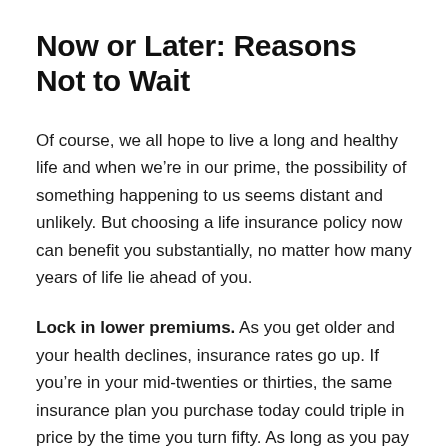Now or Later: Reasons Not to Wait
Of course, we all hope to live a long and healthy life and when we’re in our prime, the possibility of something happening to us seems distant and unlikely. But choosing a life insurance policy now can benefit you substantially, no matter how many years of life lie ahead of you.
Lock in lower premiums. As you get older and your health declines, insurance rates go up. If you’re in your mid-twenties or thirties, the same insurance plan you purchase today could triple in price by the time you turn fifty. As long as you pay